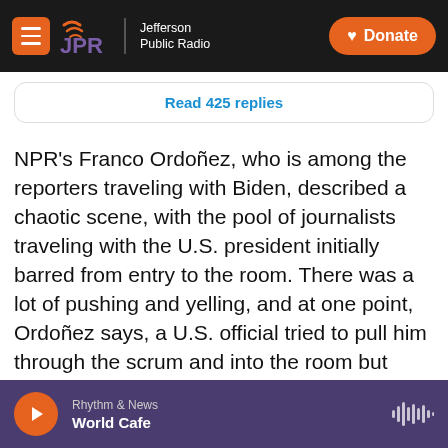JPR Jefferson Public Radio | Donate
Read 425 replies
NPR's Franco Ordoñez, who is among the reporters traveling with Biden, described a chaotic scene, with the pool of journalists traveling with the U.S. president initially barred from entry to the room. There was a lot of pushing and yelling, and at one point, Ordoñez says, a U.S. official tried to pull him through the scrum and into the room but "another non-U.S. security agent grabbed me and threw me back."
Rhythm & News | World Cafe